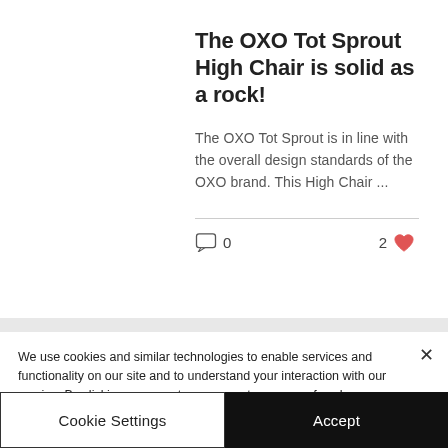The OXO Tot Sprout High Chair is solid as a rock!
The OXO Tot Sprout is in line with the overall design standards of the OXO brand. This High Chair ...
0 comments, 2 likes
We use cookies and similar technologies to enable services and functionality on our site and to understand your interaction with our service. By clicking on accept, you agree to our use of such technologies for marketing and analytics. See Privacy Policy